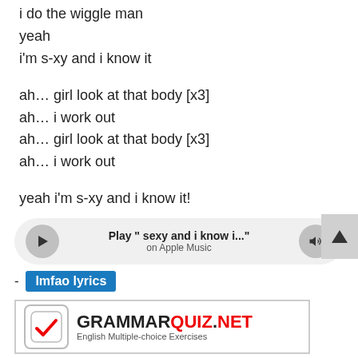i do the wiggle man
yeah
i'm s-xy and i know it
ah… girl look at that body [x3]
ah… i work out
ah… girl look at that body [x3]
ah… i work out
yeah i'm s-xy and i know it!
[Figure (other): Music player bar with play button, song title 'Play " sexy and i know i..."', 'on Apple Music' subtitle, and volume button]
- lmfao lyrics
[Figure (other): Advertisement for GrammarQuiz.net - English Multiple-choice Exercises]